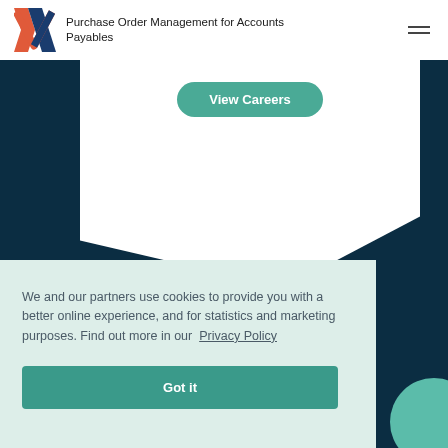Purchase Order Management for Accounts Payables
[Figure (screenshot): Website section with a 'View Careers' teal button on a white card overlaid on a dark navy blue background hero section]
We and our partners use cookies to provide you with a better online experience, and for statistics and marketing purposes. Find out more in our  Privacy Policy
[Figure (other): 'Got it' teal button for cookie consent banner]